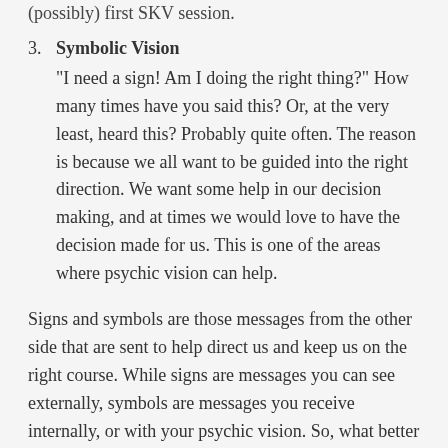(possibly) first SKV session.
3. Symbolic Vision
"I need a sign! Am I doing the right thing?" How many times have you said this? Or, at the very least, heard this? Probably quite often. The reason is because we all want to be guided into the right direction. We want some help in our decision making, and at times we would love to have the decision made for us. This is one of the areas where psychic vision can help.
Signs and symbols are those messages from the other side that are sent to help direct us and keep us on the right course. While signs are messages you can see externally, symbols are messages you receive internally, or with your psychic vision. So, what better way to understand what symbols are than to use them?